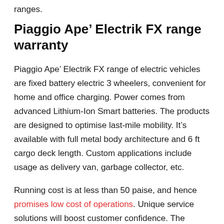ranges.
Piaggio Ape’ Electrik FX range warranty
Piaggio Ape’ Electrik FX range of electric vehicles are fixed battery electric 3 wheelers, convenient for home and office charging. Power comes from advanced Lithium-Ion Smart batteries. The products are designed to optimise last-mile mobility. It’s available with full metal body architecture and 6 ft cargo deck length. Custom applications include usage as delivery van, garbage collector, etc.
Running cost is at less than 50 paise, and hence promises low cost of operations. Unique service solutions will boost customer confidence. The company offers 3 year/1 lakh kilometer ‘Super warranty’, and 3 Year Free Maintenance